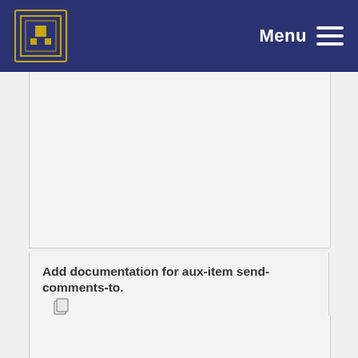Menu
Add documentation for aux-item send-comments-to. Per Cederqvist committed 20 years ago